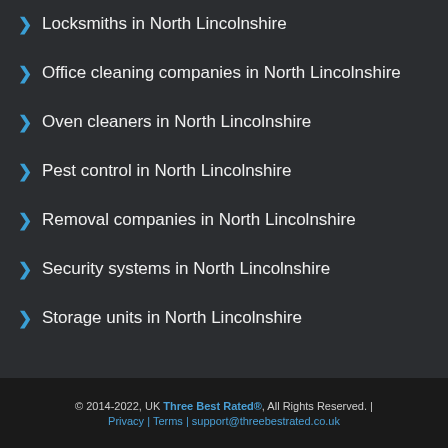Locksmiths in North Lincolnshire
Office cleaning companies in North Lincolnshire
Oven cleaners in North Lincolnshire
Pest control in North Lincolnshire
Removal companies in North Lincolnshire
Security systems in North Lincolnshire
Storage units in North Lincolnshire
© 2014-2022, UK Three Best Rated®, All Rights Reserved. | Privacy | Terms | support@threebestrated.co.uk